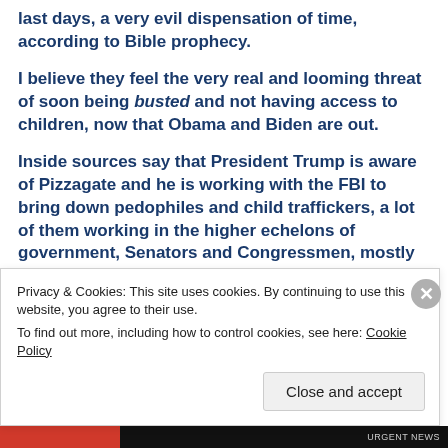last days, a very evil dispensation of time, according to Bible prophecy.
I believe they feel the very real and looming threat of soon being busted and not having access to children, now that Obama and Biden are out.
Inside sources say that President Trump is aware of Pizzagate and he is working with the FBI to bring down pedophiles and child traffickers, a lot of them working in the higher echelons of government, Senators and Congressmen, mostly Liberal
Privacy & Cookies: This site uses cookies. By continuing to use this website, you agree to their use. To find out more, including how to control cookies, see here: Cookie Policy
Close and accept